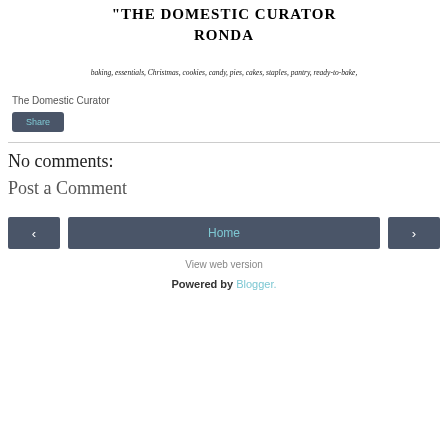THE DOMESTIC CURATOR RONDA
baking, essentials, Christmas, cookies, candy, pies, cakes, staples, pantry, ready-to-bake,
The Domestic Curator
Share
No comments:
Post a Comment
‹
Home
›
View web version
Powered by Blogger.